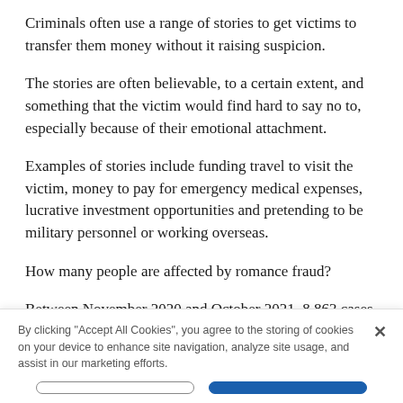Criminals often use a range of stories to get victims to transfer them money without it raising suspicion.
The stories are often believable, to a certain extent, and something that the victim would find hard to say no to, especially because of their emotional attachment.
Examples of stories include funding travel to visit the victim, money to pay for emergency medical expenses, lucrative investment opportunities and pretending to be military personnel or working overseas.
How many people are affected by romance fraud?
Between November 2020 and October 2021, 8,863 cases of romance fraud were reported to National
By clicking "Accept All Cookies", you agree to the storing of cookies on your device to enhance site navigation, analyze site usage, and assist in our marketing efforts.